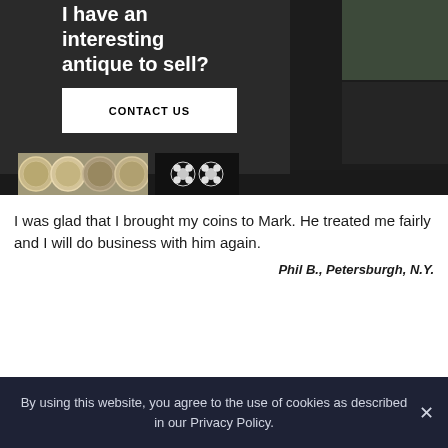[Figure (photo): Dark collage background with antique coins and jewelry images, text overlay reading 'I have an interesting antique to sell?' and a CONTACT US button]
I was glad that I brought my coins to Mark. He treated me fairly and I will do business with him again.
Phil B., Petersburgh, N.Y.
By using this website, you agree to the use of cookies as described in our Privacy Policy.